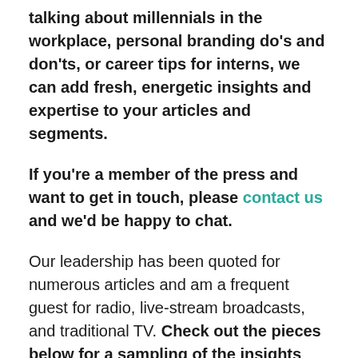talking about millennials in the workplace, personal branding do's and don'ts, or career tips for interns, we can add fresh, energetic insights and expertise to your articles and segments.
If you're a member of the press and want to get in touch, please contact us and we'd be happy to chat.
Our leadership has been quoted for numerous articles and am a frequent guest for radio, live-stream broadcasts, and traditional TV. Check out the pieces below for a sampling of the insights we've contributed and stories we've inspired.
Select Press